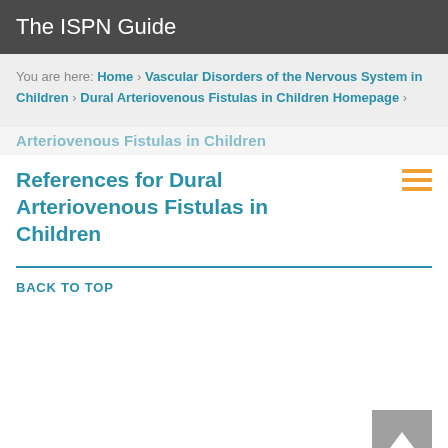The ISPN Guide
You are here: Home > Vascular Disorders of the Nervous System in Children > Dural Arteriovenous Fistulas in Children Homepage >
Arteriovenous Fistulas in Children
References for Dural Arteriovenous Fistulas in Children
BACK TO TOP